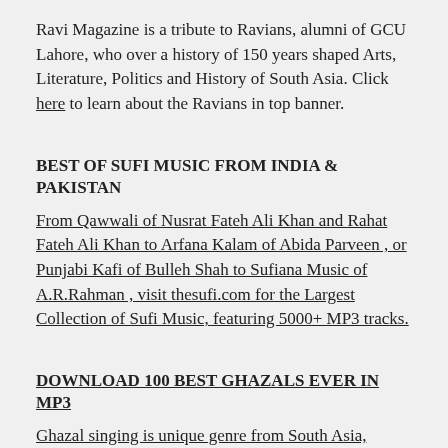Ravi Magazine is a tribute to Ravians, alumni of GCU Lahore, who over a history of 150 years shaped Arts, Literature, Politics and History of South Asia. Click here to learn about the Ravians in top banner.
BEST OF SUFI MUSIC FROM INDIA & PAKISTAN
From Qawwali of Nusrat Fateh Ali Khan and Rahat Fateh Ali Khan to Arfana Kalam of Abida Parveen , or Punjabi Kafi of Bulleh Shah to Sufiana Music of A.R.Rahman , visit thesufi.com for the Largest Collection of Sufi Music, featuring 5000+ MP3 tracks.
DOWNLOAD 100 BEST GHAZALS EVER IN MP3
Ghazal singing is unique genre from South Asia, which beautifully marries Urdu Love Poetry with Classical music. Download 100 Best Ghazals Ever in MP3, including